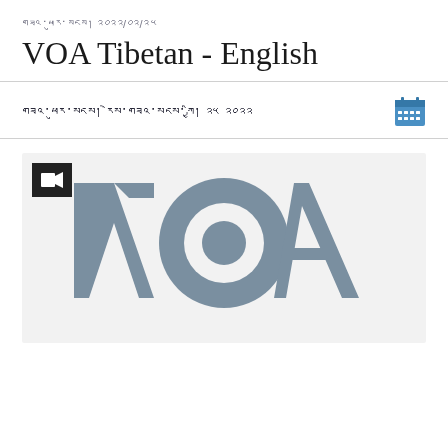གཟའ་ཕུར་སངས། ༢༠༢༢/༠༢/༢༥
VOA Tibetan - English
གཟའ་ཕུར་སངས། རེས་གཟའ་སངས་ཀྱི། ༢༥ ༢༠༢༢
[Figure (logo): VOA (Voice of America) logo in grey on light grey background with video camera icon overlay in top-left corner]